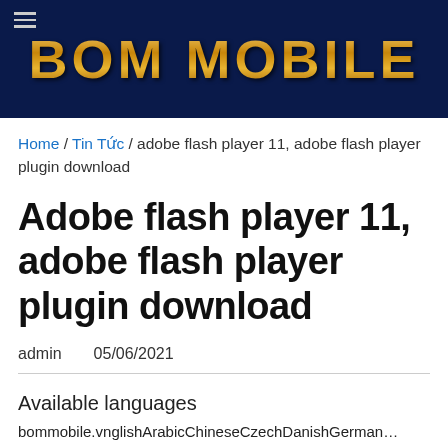[Figure (logo): BOM MOBILE logo in gold metallic text on dark navy blue background with hamburger menu icon]
Home / Tin Tức / adobe flash player 11, adobe flash player plugin download
Adobe flash player 11, adobe flash player plugin download
admin     05/06/2021
Available languages
bommobile.vnglishArabicChineseCzechDanishGerman…
You may also like